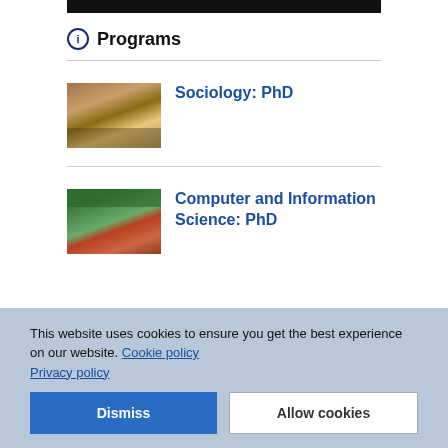[Figure (photo): Black top banner strip (partial image of university building)]
Programs
[Figure (photo): Photograph of a university building with autumn trees]
Sociology: PhD
[Figure (photo): Photograph of a brick university building with green trees]
Computer and Information Science: PhD
This website uses cookies to ensure you get the best experience on our website. Cookie policy
Privacy policy
Dismiss
Allow cookies